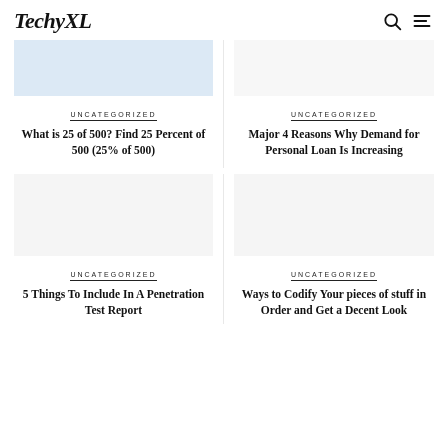TechyXL
[Figure (screenshot): Blue-tinted placeholder image for article thumbnail]
UNCATEGORIZED
What is 25 of 500? Find 25 Percent of 500 (25% of 500)
[Figure (illustration): Empty placeholder for second article thumbnail]
UNCATEGORIZED
Major 4 Reasons Why Demand for Personal Loan Is Increasing
[Figure (illustration): Empty placeholder for third article thumbnail]
UNCATEGORIZED
5 Things To Include In A Penetration Test Report
[Figure (illustration): Empty placeholder for fourth article thumbnail]
UNCATEGORIZED
Ways to Codify Your pieces of stuff in Order and Get a Decent Look